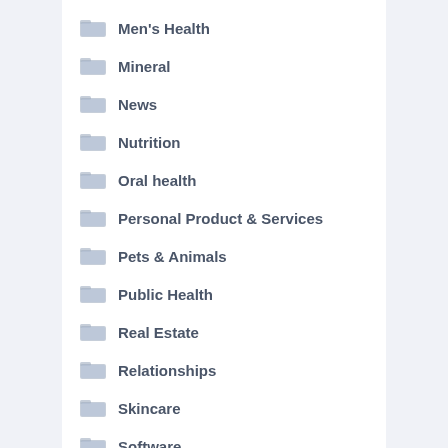Men's Health
Mineral
News
Nutrition
Oral health
Personal Product & Services
Pets & Animals
Public Health
Real Estate
Relationships
Skincare
Software